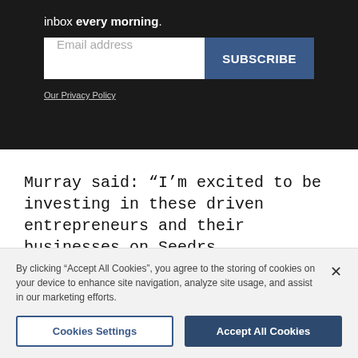inbox every morning.
Email address
SUBSCRIBE
Our Privacy Policy
Murray said: “I’m excited to be investing in these driven entrepreneurs and their businesses on Seedrs.
“It’s important to me that I back people who I believe
By clicking “Accept All Cookies”, you agree to the storing of cookies on your device to enhance site navigation, analyze site usage, and assist in our marketing efforts.
Cookies Settings
Accept All Cookies